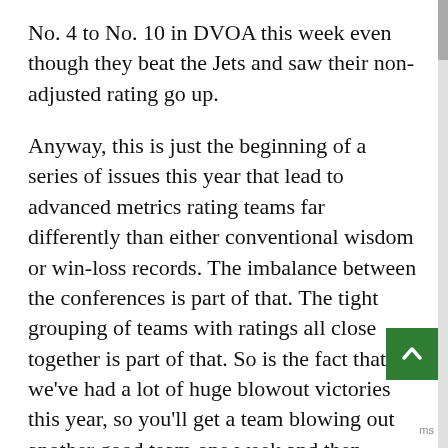No. 4 to No. 10 in DVOA this week even though they beat the Jets and saw their non-adjusted rating go up.
Anyway, this is just the beginning of a series of issues this year that lead to advanced metrics rating teams far differently than either conventional wisdom or win-loss records. The imbalance between the conferences is part of that. The tight grouping of teams with ratings all close together is part of that. So is the fact that we've had a lot of huge blowout victories this year, so you'll get a team blowing out another good team one week and then getting routed themselves in a different week. On top of that, we have the weird case of the Arizona Cardinals, whose oddly mediocre DVOA rating was covered in last week's commentary. I will note that the Cardinals' win over Dallas came out as their best single game of